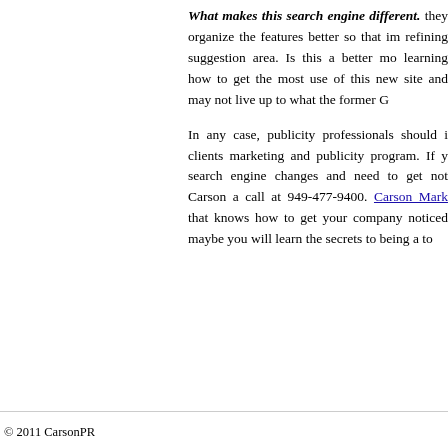What makes this search engine different. they organize the features better so that im refining suggestion area. Is this a better mo learning how to get the most use of this new site and may not live up to what the former G
In any case, publicity professionals should i clients marketing and publicity program. If y search engine changes and need to get not Carson a call at 949-477-9400. Carson Mark that knows how to get your company noticed maybe you will learn the secrets to being a to
© 2011 CarsonPR